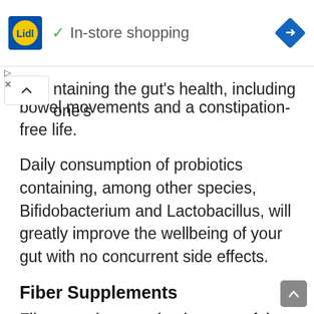[Figure (logo): Lidl store logo and In-store shopping ad banner with navigation diamond icon]
ntaining the gut's health, including one's bowel movements and a constipation-free life.
Daily consumption of probiotics containing, among other species, Bifidobacterium and Lactobacillus, will greatly improve the wellbeing of your gut with no concurrent side effects.
Fiber Supplements
Fiber supplementation is some of the most